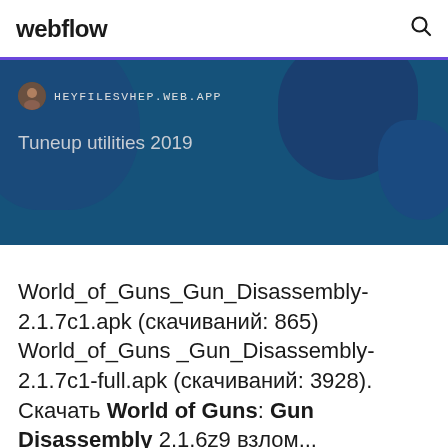webflow
[Figure (screenshot): Banner with dark blue background and map blob shapes. Shows site URL HEYFILESVHEP.WEB.APP and title 'Tuneup utilities 2019']
World_of_Guns_Gun_Disassembly-2.1.7c1.apk (скачиваний: 865) World_of_Guns _Gun_Disassembly-2.1.7c1-full.apk (скачиваний: 3928). Скачать World of Guns: Gun Disassembly 2.1.6z9 взлом...